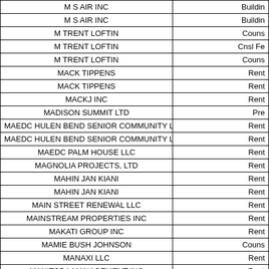| Name | Type |
| --- | --- |
| M S AIR INC | Buildin |
| M S AIR INC | Buildin |
| M TRENT LOFTIN | Couns |
| M TRENT LOFTIN | Cnsl Fe |
| M TRENT LOFTIN | Couns |
| MACK TIPPENS | Rent |
| MACK TIPPENS | Rent |
| MACKJ INC | Rent |
| MADISON SUMMIT LTD | Pre |
| MAEDC HULEN BEND SENIOR COMMUNITY L | Rent |
| MAEDC HULEN BEND SENIOR COMMUNITY L | Rent |
| MAEDC PALM HOUSE LLC | Rent |
| MAGNOLIA PROJECTS, LTD | Rent |
| MAHIN JAN KIANI | Rent |
| MAHIN JAN KIANI | Rent |
| MAIN STREET RENEWAL LLC | Rent |
| MAINSTREAM PROPERTIES INC | Rent |
| MAKATI GROUP INC | Rent |
| MAMIE BUSH JOHNSON | Couns |
| MANAXI LLC | Rent |
| MANITOBA MANAGEMENT INC | Rent |
| MANITOBA MANAGEMENT INC | Rent |